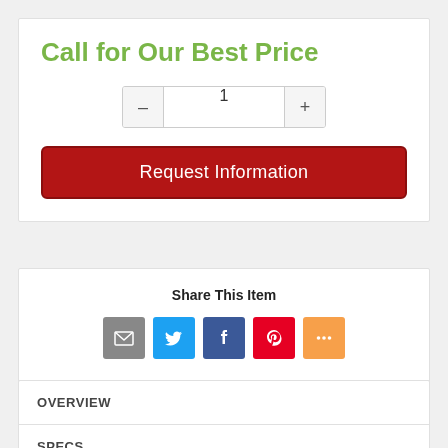Call for Our Best Price
[Figure (other): Quantity selector with minus button, input field showing 1, and plus button]
Request Information
Share This Item
[Figure (other): Social share icons: email (grey), Twitter (blue), Facebook (dark blue), Pinterest (red), and more (orange)]
OVERVIEW
SPECS